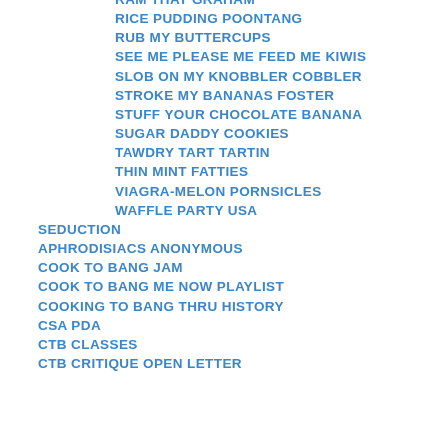RAM THAT GRAHAM
RICE PUDDING POONTANG
RUB MY BUTTERCUPS
SEE ME PLEASE ME FEED ME KIWIS
SLOB ON MY KNOBBLER COBBLER
STROKE MY BANANAS FOSTER
STUFF YOUR CHOCOLATE BANANA
SUGAR DADDY COOKIES
TAWDRY TART TARTIN
THIN MINT FATTIES
VIAGRA-MELON PORNSICLES
WAFFLE PARTY USA
SEDUCTION
APHRODISIACS ANONYMOUS
COOK TO BANG JAM
COOK TO BANG ME NOW PLAYLIST
COOKING TO BANG THRU HISTORY
CSA PDA
CTB CLASSES
CTB CRITIQUE OPEN LETTER